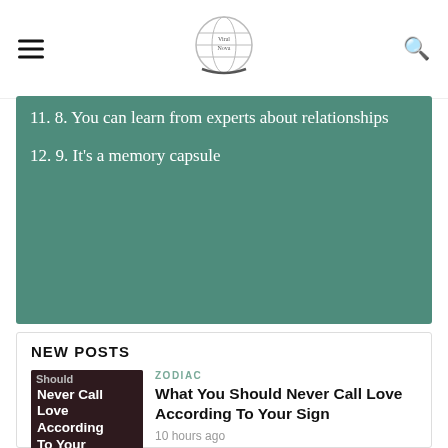Viral Nova (logo)
11. 8. You can learn from experts about relationships
12. 9. It's a memory capsule
NEW POSTS
[Figure (photo): Dark brown thumbnail image with white text: Should Never Call Love According To Your]
ZODIAC
What You Should Never Call Love According To Your Sign
10 hours ago
[Figure (photo): Dark brown thumbnail image with white text: The Signs]
ZODIAC